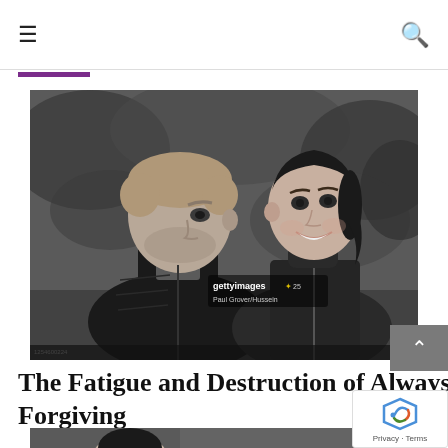☰  🔍
[Figure (photo): Black and white photograph of Prince Harry and Meghan Markle outdoors, both wearing puffer/athletic jackets, with a Getty Images watermark visible in the lower right area of the image (gettyimages, photo credit: Paul Grover/Hussain)]
The Fatigue and Destruction of Always Forgiving
[Figure (photo): Partial bottom photo teaser, showing the top of a person's head in black and white, outdoors setting]